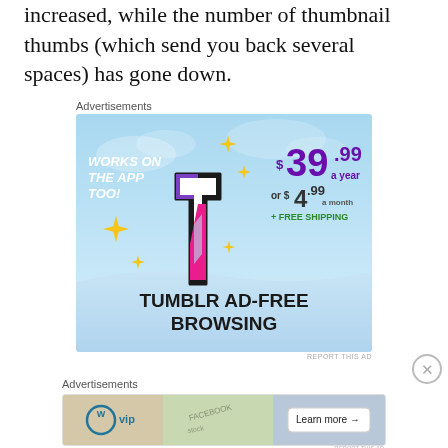increased, while the number of thumbnail thumbs (which send you back several spaces) has gone down.
Advertisements
[Figure (illustration): Tumblr Ad-Free Browsing advertisement. Light blue sky background with Tumblr 't' logo in pink/purple/white. Text: WORKS ON THE APP TOO! $39.99 a year or $4.99 a month + FREE SHIPPING. TUMBLR AD-FREE BROWSING. Yellow sparkle stars decorating the logo.]
REPORT THIS AD
Advertisements
[Figure (illustration): WordPress VIP advertisement with Learn more arrow button. Background showing social media platform logos including Facebook. Text: WordPress VIP logo with 'Learn more →' button.]